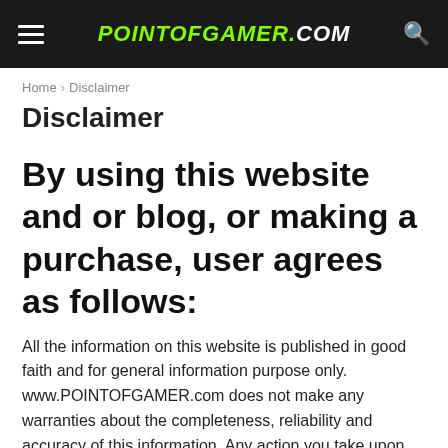POINTOFGAMER.COM
Home › Disclaimer
Disclaimer
By using this website and or blog, or making a purchase, user agrees as follows:
All the information on this website is published in good faith and for general information purpose only. www.POINTOFGAMER.com does not make any warranties about the completeness, reliability and accuracy of this information. Any action you take upon the information you find on this website (www.POINTOFGAMER.com), is strictly